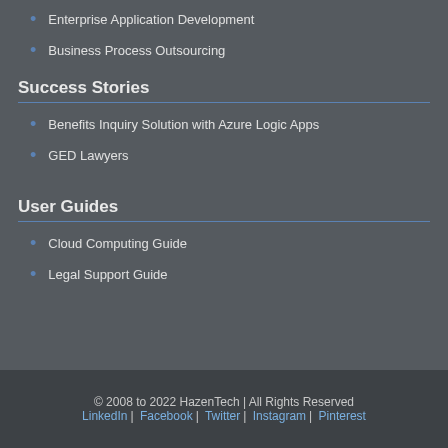Enterprise Application Development
Business Process Outsourcing
Success Stories
Benefits Inquiry Solution with Azure Logic Apps
GED Lawyers
User Guides
Cloud Computing Guide
Legal Support Guide
© 2008 to 2022 HazenTech | All Rights Reserved
LinkedIn | Facebook | Twitter | Instagram | Pinterest